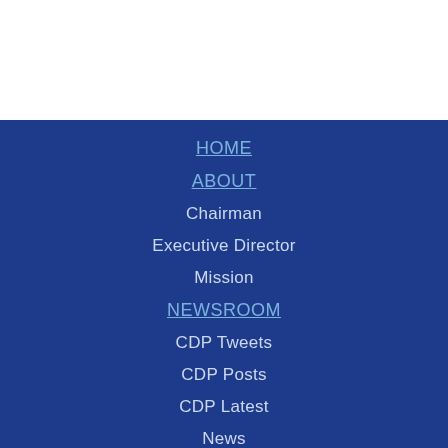HOME
ABOUT
Chairman
Executive Director
Mission
NEWSROOM
CDP Tweets
CDP Posts
CDP Latest
News
Videos